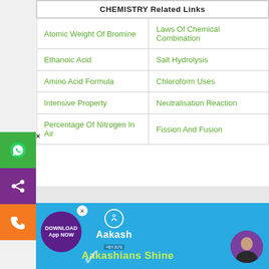| CHEMISTRY Related Links |  |
| --- | --- |
| Atomic Weight Of Bromine | Laws Of Chemical Combination |
| Ethanoic Acid | Salt Hydrolysis |
| Amino Acid Formula | Chloroform Uses |
| Intensive Property | Neutralisation Reaction |
| Percentage Of Nitrogen In Air | Fission And Fusion |
[Figure (screenshot): Aakash by BYJU'S advertisement banner with 'Aakashians Shine' text and download app badge]
[Figure (infographic): Scroll to top button (arrow up), sidebar with WhatsApp, share, and phone icons, and download app button]